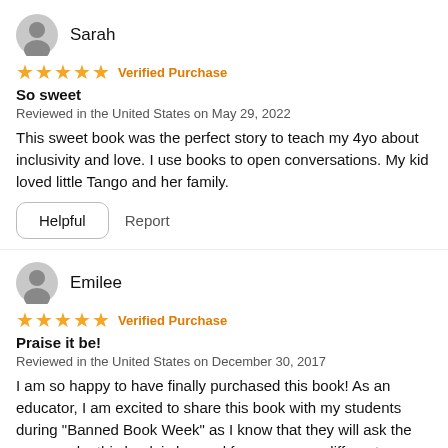Sarah
★★★★★ Verified Purchase
So sweet
Reviewed in the United States on May 29, 2022
This sweet book was the perfect story to teach my 4yo about inclusivity and love. I use books to open conversations. My kid loved little Tango and her family.
Helpful  Report
Emilee
★★★★★ Verified Purchase
Praise it be!
Reviewed in the United States on December 30, 2017
I am so happy to have finally purchased this book! As an educator, I am excited to share this book with my students during "Banned Book Week" as I know that they will ask the reason why this book is banned from so many different schools and libraries. It's an... See more